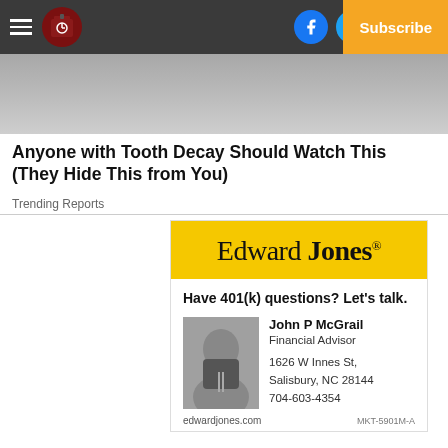Log In | Subscribe
[Figure (photo): Blurred/cropped photograph used as background behind promoted content teaser]
Anyone with Tooth Decay Should Watch This (They Hide This from You)
Trending Reports
[Figure (infographic): Edward Jones advertisement featuring logo, tagline 'Have 401(k) questions? Let's talk.' and financial advisor John P McGrail with photo, address 1626 W Innes St, Salisbury, NC 28144, phone 704-603-4354, edwardjones.com]